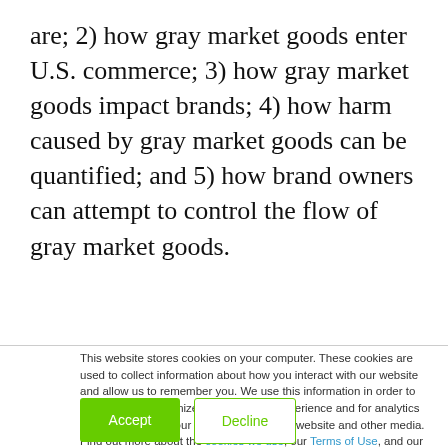are; 2) how gray market goods enter U.S. commerce; 3) how gray market goods impact brands; 4) how harm caused by gray market goods can be quantified; and 5) how brand owners can attempt to control the flow of gray market goods.
This website stores cookies on your computer. These cookies are used to collect information about how you interact with our website and allow us to remember you. We use this information in order to improve and customize your browsing experience and for analytics and metrics about our visitors both on this website and other media. Find out more about the cookies we use, our Terms of Use, and our Privacy Policy.

If you decline, your information won't be tracked when you visit this website. A single cookie will be used in your browser to remember your preference not to be tracked.